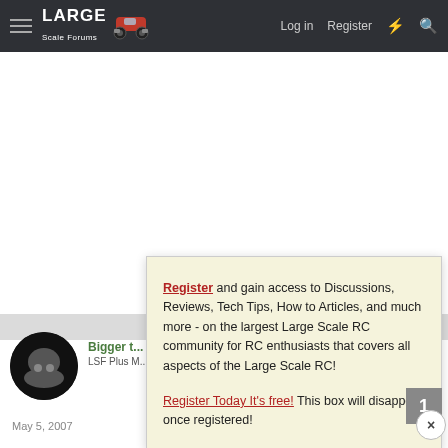Large Scale Forums — Log in   Register
[Figure (screenshot): Large Scale Forums monster truck logo in navbar]
Register and gain access to Discussions, Reviews, Tech Tips, How to Articles, and much more - on the largest Large Scale RC community for RC enthusiasts that covers all aspects of the Large Scale RC!
Register Today It's free! This box will disappear once registered!
Bigger t...
LSF Plus M...
May 5, 2007